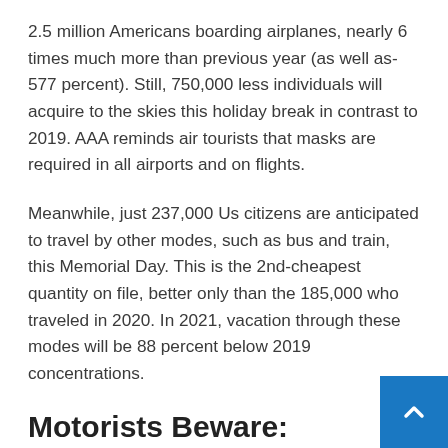2.5 million Americans boarding airplanes, nearly 6 times much more than previous year (as well as-577 percent). Still, 750,000 less individuals will acquire to the skies this holiday break in contrast to 2019. AAA reminds air tourists that masks are required in all airports and on flights.
Meanwhile, just 237,000 Us citizens are anticipated to travel by other modes, such as bus and train, this Memorial Day. This is the 2nd-cheapest quantity on file, better only than the 185,000 who traveled in 2020. In 2021, vacation through these modes will be 88 percent below 2019 concentrations.
Motorists Beware: Worst Times to Hit the Street